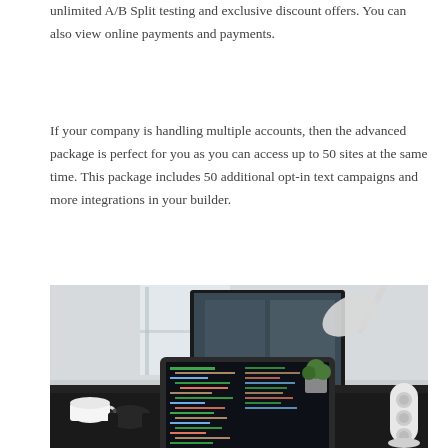unlimited A/B Split testing and exclusive discount offers. You can also view online payments and payments.
If your company is handling multiple accounts, then the advanced package is perfect for you as you can access up to 50 sites at the same time. This package includes 50 additional opt-in text campaigns and more integrations in your builder.
[Figure (photo): A desk workspace with a MacBook laptop showing code editor with dark theme and colorful syntax highlighting, a large external monitor in the background, a white desk lamp, a coffee mug, headphones, a small plant, and a cylindrical speaker on the right side.]